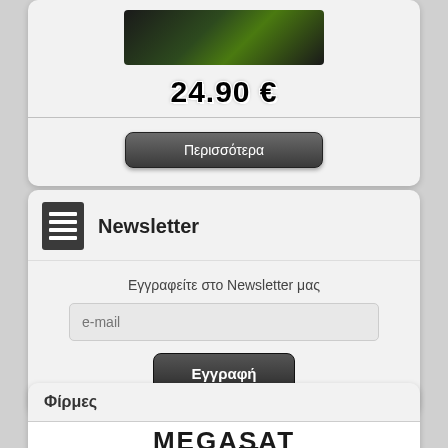[Figure (photo): Product image thumbnail with dark green/black tones]
24.90 €
[Figure (other): Button labeled Περισσότερα (More)]
Newsletter
Εγγραφείτε στο Newsletter μας
[Figure (other): Email input field with placeholder 'e-mail']
[Figure (other): Button labeled Εγγραφή (Subscribe)]
Φίρμες
[Figure (logo): MEGASAT logo in bold black uppercase letters]